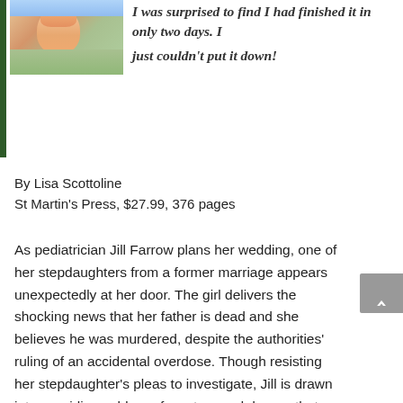[Figure (photo): Photo of a person (child or woman) in an orange/yellow top, outdoors with green background]
I was surprised to find I had finished it in only two days. I just couldn't put it down!
By Lisa Scottoline
St Martin's Press, $27.99, 376 pages
As pediatrician Jill Farrow plans her wedding, one of her stepdaughters from a former marriage appears unexpectedly at her door. The girl delivers the shocking news that her father is dead and she believes he was murdered, despite the authorities' ruling of an accidental overdose. Though resisting her stepdaughter's pleas to investigate, Jill is drawn into a swirling caldron of mystery and danger that threatens not only her planned nuptials but her life. Adding complexity, her fiancé does not want the stepdaughters in their lives and threatens to end the